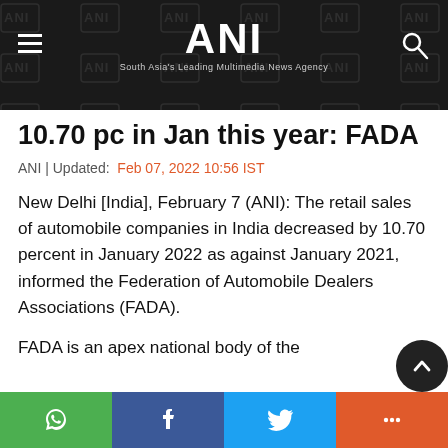ANI | South Asia's Leading Multimedia News Agency
10.70 pc in Jan this year: FADA
ANI | Updated: Feb 07, 2022 10:56 IST
New Delhi [India], February 7 (ANI): The retail sales of automobile companies in India decreased by 10.70 percent in January 2022 as against January 2021, informed the Federation of Automobile Dealers Associations (FADA).
FADA is an apex national body of the